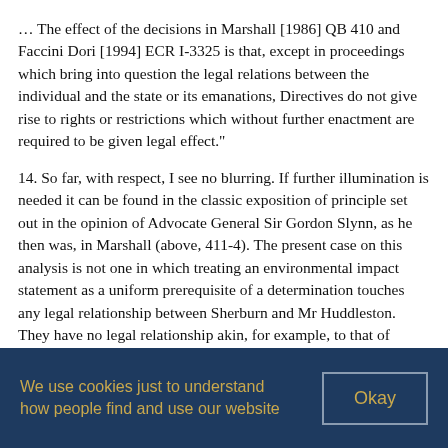… The effect of the decisions in Marshall [1986] QB 410 and Faccini Dori [1994] ECR I-3325 is that, except in proceedings which bring into question the legal relations between the individual and the state or its emanations, Directives do not give rise to rights or restrictions which without further enactment are required to be given legal effect."
14. So far, with respect, I see no blurring. If further illumination is needed it can be found in the classic exposition of principle set out in the opinion of Advocate General Sir Gordon Slynn, as he then was, in Marshall (above, 411-4). The present case on this analysis is not one in which treating an environmental impact statement as a uniform prerequisite of a determination touches any legal relationship between Sherburn and Mr Huddleston. They have no legal relationship akin, for example, to that of employer and employee or even neighbour and neighbour. They confront one another in these proceedings only because each has a distinct interest recognised by law in Durham's function as a mineral planning
We use cookies just to understand how people find and use our website
Okay